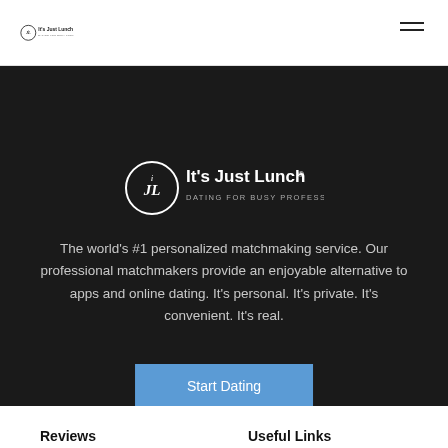[Figure (logo): It's Just Lunch logo in header - circular iJL icon with text 'It's Just Lunch' and tagline 'DATING FOR BUSY PROFESSIONALS']
[Figure (logo): It's Just Lunch logo centered in dark section - circular iJL icon with text 'It's Just Lunch' and tagline 'DATING FOR BUSY PROFESSIONALS' in white]
The world's #1 personalized matchmaking service. Our professional matchmakers provide an enjoyable alternative to apps and online dating. It's personal. It's private. It's convenient. It's real.
Start Dating
Reviews
Useful Links